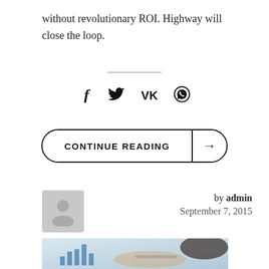without revolutionary ROI. Highway will close the loop.
[Figure (other): Horizontal divider line]
[Figure (other): Social media share icons: Facebook (f), Twitter (bird), VK (VK), WhatsApp (phone/chat)]
[Figure (other): CONTINUE READING button with arrow, pill-shaped border, vertical divider before arrow]
by admin
September 7, 2015
[Figure (photo): Photo of a person pointing at a financial chart/graph document with a pen]